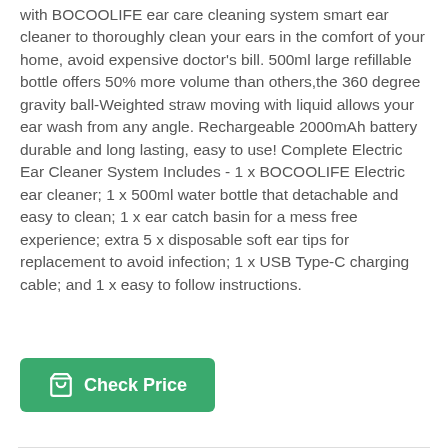with BOCOOLIFE ear care cleaning system smart ear cleaner to thoroughly clean your ears in the comfort of your home, avoid expensive doctor's bill. 500ml large refillable bottle offers 50% more volume than others, the 360 degree gravity ball-Weighted straw moving with liquid allows your ear wash from any angle. Rechargeable 2000mAh battery durable and long lasting, easy to use! Complete Electric Ear Cleaner System Includes - 1 x BOCOOLIFE Electric ear cleaner; 1 x 500ml water bottle that detachable and easy to clean; 1 x ear catch basin for a mess free experience; extra 5 x disposable soft ear tips for replacement to avoid infection; 1 x USB Type-C charging cable; and 1 x easy to follow instructions.
Check Price